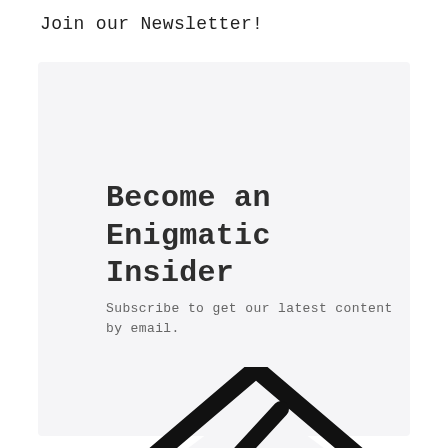Join our Newsletter!
Become an Enigmatic Insider
Subscribe to get our latest content by email.
[Figure (logo): Enigmatic logo: a triangle outline with circuit-like nodes and lines inside, rendered in black on light background]